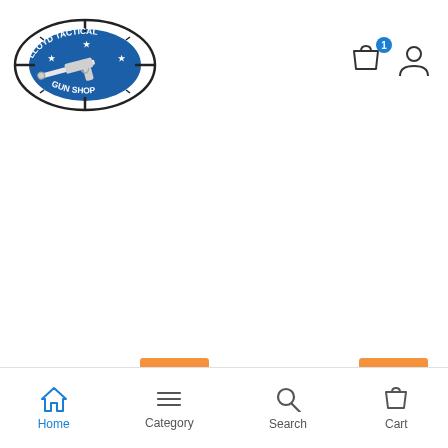[Figure (logo): Lloyd Tactical Gun Shop logo — oval shape with blue background, gun/rifle image, crosshair, stars, text 'LLOYD TACTICAL' and 'GUN SHOP']
[Figure (other): Shopping cart icon with blue badge showing number 1, and user/person icon]
Hot
Hot
[Figure (other): Bottom navigation bar with Home (active, blue), Category, Search, Cart icons]